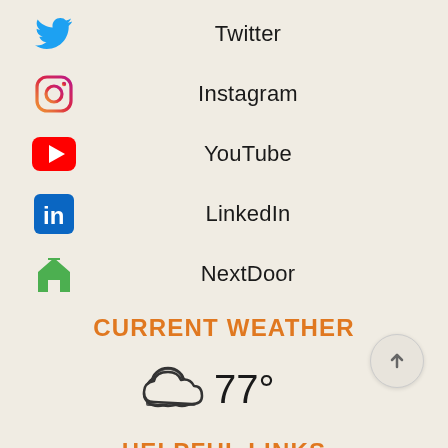Twitter
Instagram
YouTube
LinkedIn
NextDoor
CURRENT WEATHER
[Figure (infographic): Cloudy weather icon with temperature reading 77 degrees]
HELPFUL LINKS